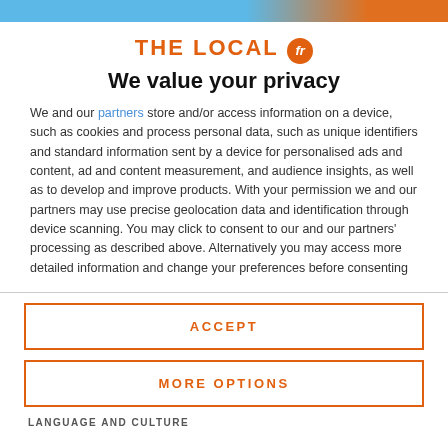THE LOCAL fr
We value your privacy
We and our partners store and/or access information on a device, such as cookies and process personal data, such as unique identifiers and standard information sent by a device for personalised ads and content, ad and content measurement, and audience insights, as well as to develop and improve products. With your permission we and our partners may use precise geolocation data and identification through device scanning. You may click to consent to our and our partners' processing as described above. Alternatively you may access more detailed information and change your preferences before consenting
ACCEPT
MORE OPTIONS
LANGUAGE AND CULTURE